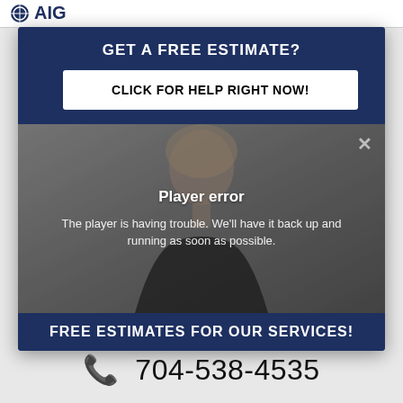[Figure (screenshot): Top navigation bar with partially visible logo (circle icon and letters AIG or similar)]
GET A FREE ESTIMATE?
CLICK FOR HELP RIGHT NOW!
[Figure (screenshot): Video player showing a woman with blonde hair against a grey background, displaying a player error message]
Player error
The player is having trouble. We'll have it back up and running as soon as possible.
FREE ESTIMATES FOR OUR SERVICES!
704-538-4535